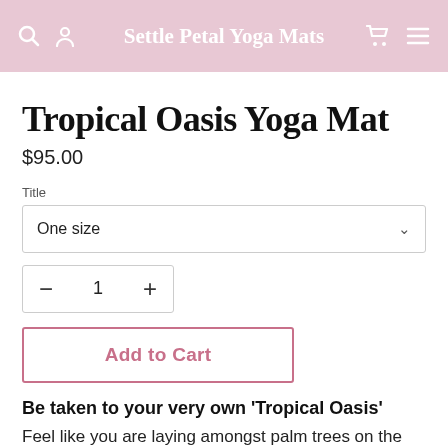Settle Petal Yoga Mats
Tropical Oasis Yoga Mat
$95.00
Title
One size
1
Add to Cart
Be taken to your very own 'Tropical Oasis'
Feel like you are laying amongst palm trees on the 'Tropical Oasis' Yoga Mat. I think this